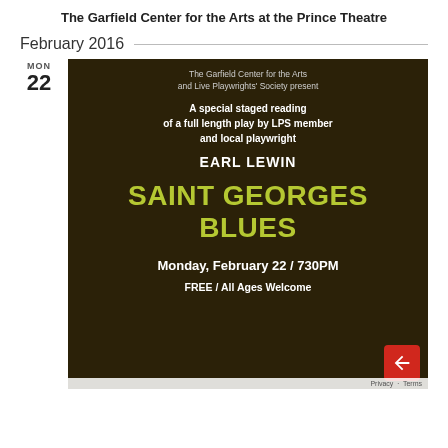The Garfield Center for the Arts at the Prince Theatre
February 2016
[Figure (illustration): Event poster on dark brown background. Text reads: The Garfield Center for the Arts and Live Playwrights' Society present / A special staged reading of a full length play by LPS member and local playwright / EARL LEWIN / SAINT GEORGES BLUES / Monday, February 22 / 730PM / FREE / All Ages Welcome. Day label shows MON 22.]